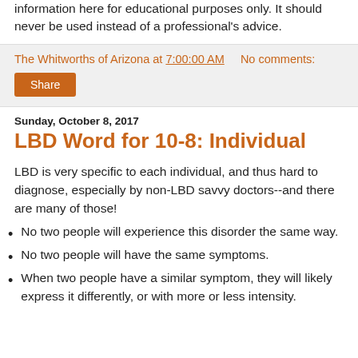information here for educational purposes only. It should never be used instead of a professional's advice.
The Whitworths of Arizona at 7:00:00 AM    No comments:
Share
Sunday, October 8, 2017
LBD Word for 10-8: Individual
LBD is very specific to each individual, and thus hard to diagnose, especially by non-LBD savvy doctors--and there are many of those!
No two people will experience this disorder the same way.
No two people will have the same symptoms.
When two people have a similar symptom, they will likely express it differently, or with more or less intensity.